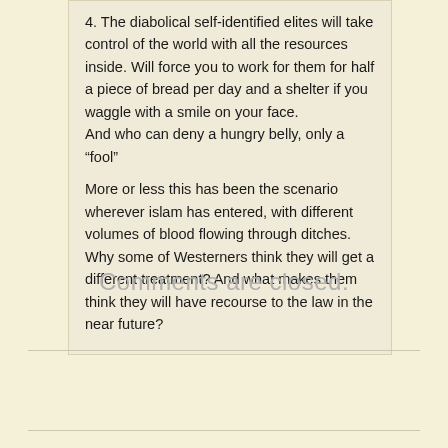4. The diabolical self-identified elites will take control of the world with all the resources inside. Will force you to work for them for half a piece of bread per day and a shelter if you waggle with a smile on your face.
And who can deny a hungry belly, only a “fool”

More or less this has been the scenario wherever islam has entered, with different volumes of blood flowing through ditches. Why some of Westerners think they will get a different treatment? And what makes them think they will have recourse to the law in the near future?
Comments are closed.